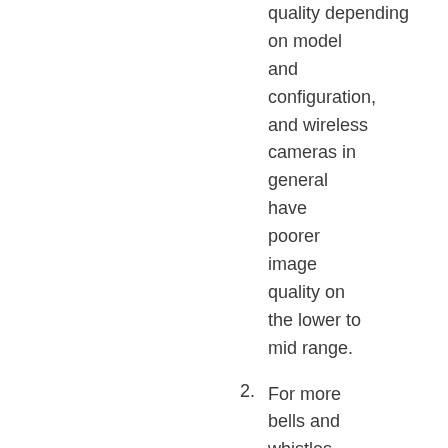quality depending on model and configuration, and wireless cameras in general have poorer image quality on the lower to mid range.
For more bells and whistles, like sound recording, scheduled emails, and motion